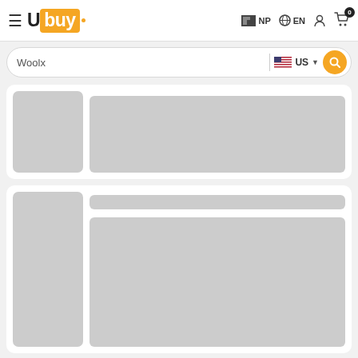Ubuy - NP EN header with search bar showing 'Woolx' and US country selector
[Figure (screenshot): Product listing card 1 - placeholder grey image on left, grey content block on right]
[Figure (screenshot): Product listing card 2 - placeholder grey image on left, grey title bar and content block on right]